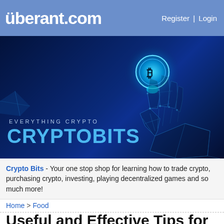überant.com  Register | Login
[Figure (illustration): Dark blue background with geometric wireframe hand holding a glowing blue Bitcoin-like coin. Text overlay: EVERYTHING CRYPTO / CRYPTOBITS]
Crypto Bits - Your one stop shop for learning how to trade crypto, purchasing crypto, investing, playing decentralized games and so much more!
Home > Food
Useful and Effective Tips for